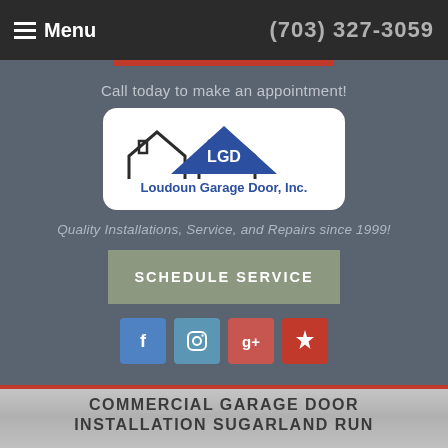Menu   (703) 327-3059
Call today to make an appointment!
[Figure (logo): Loudoun Garage Door, Inc. logo with house rooftop outline and blue triangle with LGD text]
Quality Installations, Service, and Repairs since 1999!
SCHEDULE SERVICE
[Figure (infographic): Social media icons row: Facebook (f), Instagram (camera), Google+ (g+), Yelp (burst star)]
COMMERCIAL GARAGE DOOR INSTALLATION SUGARLAND RUN